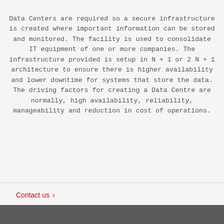Data Centers are required so a secure infrastructure is created where important information can be stored and monitored. The facility is used to consolidate IT equipment of one or more companies. The infrastructure provided is setup in N + 1 or 2 N + 1 architecture to ensure there is higher availability and lower downtime for systems that store the data. The driving factors for creating a Data Centre are normally, high availability, reliability, manageability and reduction in cost of operations.
Contact us >